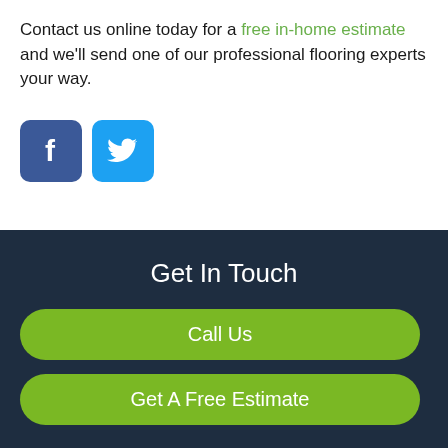Contact us online today for a free in-home estimate and we'll send one of our professional flooring experts your way.
[Figure (other): Facebook and Twitter social media icons — blue square Facebook icon with white F, and light blue square Twitter icon with white bird logo]
Get In Touch
Call Us
Get A Free Estimate